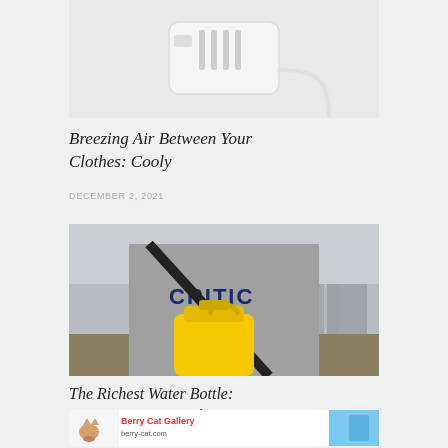[Figure (photo): White portable fan/cooling device with USB cable on white background]
Breezing Air Between Your Clothes: Cooly
DECEMBER 2, 2021
[Figure (photo): Person wearing gray CRITIC sweatshirt holding a yellow jerrycan water bottle with a black strap across their chest, outdoor background]
The Richest Water Bottle: Jerrycan Water Bottle
DECEMBER 1, 2021
[Figure (illustration): Berry Cat Gallery banner advertisement with cat illustration and colorful background]